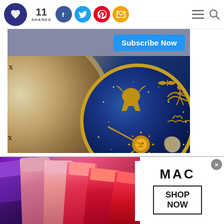11 SHARES — social share bar with Facebook, Twitter, Pinterest, Email buttons
[Figure (photo): Zodiac astrology clock with blue enamel zodiac ring and golden sun center, Roman numerals on outer ring, golden zodiac figures including Aries, Pisces, Aquarius. Blue Subscribe Now button overlay at top.]
[Figure (photo): MAC Cosmetics advertisement banner showing multiple lipstick shades in purple, pink, coral, red colors on the left, MAC logo in center, and SHOP NOW button in a black border box on the right.]